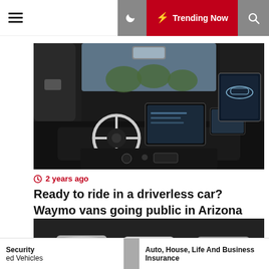☰ [moon] ⚡ Trending Now 🔍
[Figure (photo): Interior view of a Waymo autonomous vehicle, showing steering wheel, large center touchscreen, and rear displays in a dark cabin interior.]
⏱ 2 years ago
Ready to ride in a driverless car? Waymo vans going public in Arizona
[Figure (photo): Three white/silver concept cars shown in a dark studio setting, partially visible.]
Security
ed Vehicles
Auto, House, Life And Business Insurance